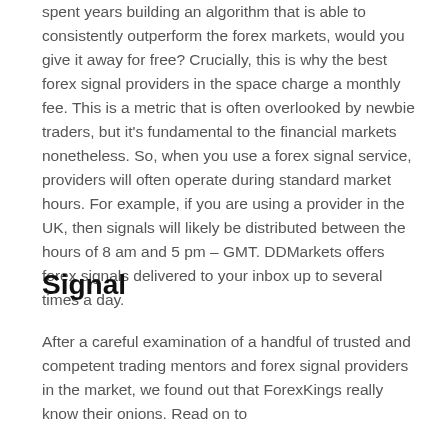spent years building an algorithm that is able to consistently outperform the forex markets, would you give it away for free? Crucially, this is why the best forex signal providers in the space charge a monthly fee. This is a metric that is often overlooked by newbie traders, but it's fundamental to the financial markets nonetheless. So, when you use a forex signal service, providers will often operate during standard market hours. For example, if you are using a provider in the UK, then signals will likely be distributed between the hours of 8 am and 5 pm – GMT. DDMarkets offers forex signals delivered to your inbox up to several times a day.
Signal
After a careful examination of a handful of trusted and competent trading mentors and forex signal providers in the market, we found out that ForexKings really know their onions. Read on to